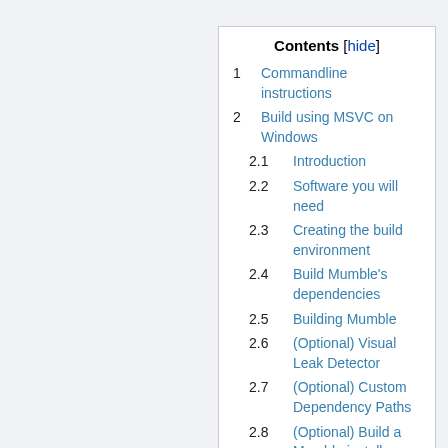| Contents [hide] |
| --- |
| 1 | Commandline instructions |
| 2 | Build using MSVC on Windows |
| 2.1 | Introduction |
| 2.2 | Software you will need |
| 2.3 | Creating the build environment |
| 2.4 | Build Mumble's dependencies |
| 2.5 | Building Mumble |
| 2.6 | (Optional) Visual Leak Detector |
| 2.7 | (Optional) Custom Dependency Paths |
| 2.8 | (Optional) Build a Mumble installer package |
| 3 | Build using MXE on Debian |